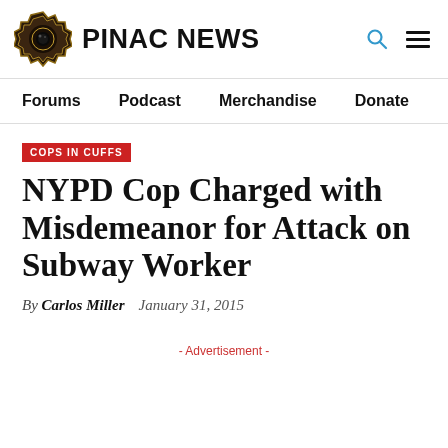PINAC NEWS
Forums   Podcast   Merchandise   Donate
COPS IN CUFFS
NYPD Cop Charged with Misdemeanor for Attack on Subway Worker
By Carlos Miller   January 31, 2015
- Advertisement -